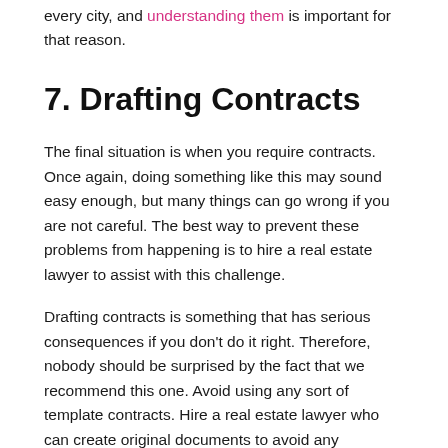every city, and understanding them is important for that reason.
7. Drafting Contracts
The final situation is when you require contracts. Once again, doing something like this may sound easy enough, but many things can go wrong if you are not careful. The best way to prevent these problems from happening is to hire a real estate lawyer to assist with this challenge.
Drafting contracts is something that has serious consequences if you don't do it right. Therefore, nobody should be surprised by the fact that we recommend this one. Avoid using any sort of template contracts. Hire a real estate lawyer who can create original documents to avoid any problems.